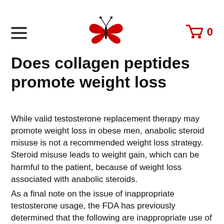Does collagen peptides promote weight loss — navigation header with hamburger menu, butterfly logo, and cart icon showing 0
Does collagen peptides promote weight loss
While valid testosterone replacement therapy may promote weight loss in obese men, anabolic steroid misuse is not a recommended weight loss strategy. Steroid misuse leads to weight gain, which can be harmful to the patient, because of weight loss associated with anabolic steroids.
As a final note on the issue of inappropriate testosterone usage, the FDA has previously determined that the following are inappropriate use of testosterone:
The use of other anabolic steroids or drugs which may alter the activity of anabolic steroids;